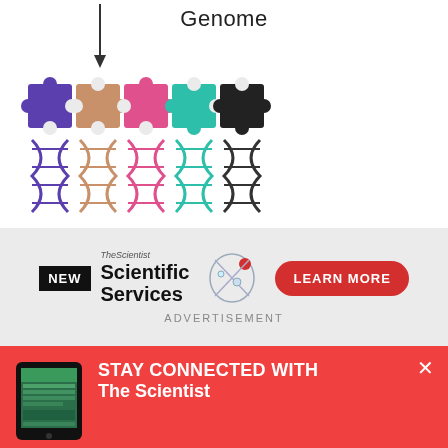[Figure (illustration): Scientific illustration showing puzzle pieces in blue, peach, pink, magenta, teal, and black colors with an arrow pointing down, and multicolored DNA double helix strands below. Label 'Genome' appears at top center.]
[Figure (screenshot): Advertisement banner for 'The Scientist Scientific Services' with a NEW badge, DNA/molecule icon, decorative background, and a red 'LEARN MORE' button.]
ADVERTISEMENT
STAY CONNECTED WITH The Scientist
Get The Scientist Daily, the free daily newsletter from The Scientist
Sign up for our free newsletter